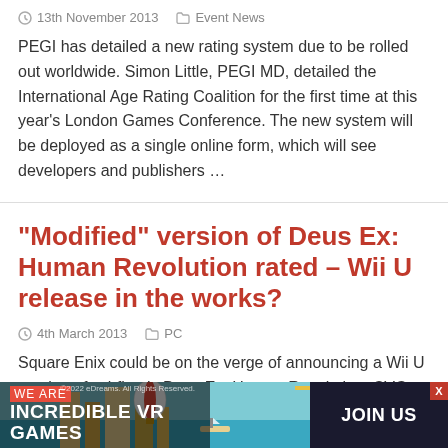PEGI has detailed a new rating system due to be rolled out worldwide. Simon Little, PEGI MD, detailed the International Age Rating Coalition for the first time at this year's London Games Conference. The new system will be deployed as a single online form, which will see developers and publishers …
"Modified" version of Deus Ex: Human Revolution rated – Wii U release in the works?
4th March 2013   PC
Square Enix could be on the verge of announcing a Wii U version of sci-fi epic Deus Ex: Human Revolution. CVG spotted a listing for a modified" version of the title with the Australian Classification Board, which it says…
[Figure (infographic): Advertisement banner at bottom: 'WE ARE INCREDIBLE VR GAMES' with JOIN US button on right, colorful game scene in background]